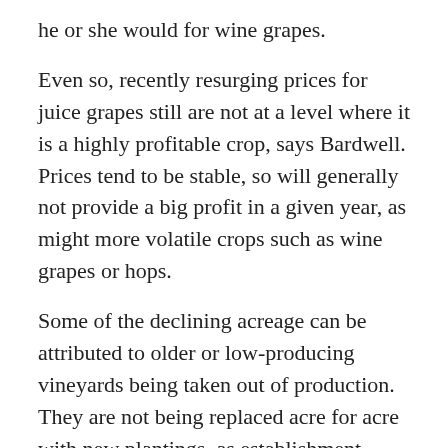he or she would for wine grapes.
Even so, recently resurging prices for juice grapes still are not at a level where it is a highly profitable crop, says Bardwell. Prices tend to be stable, so will generally not provide a big profit in a given year, as might more volatile crops such as wine grapes or hops.
Some of the declining acreage can be attributed to older or low-producing vineyards being taken out of production. They are not being replaced acre for acre with new plantings, as establishment costs are so high. Irrigation and trellis systems can cost anywhere from $4,000 to $8,000 per acre.
“Then you wait three years before you get a decent crop,” says Bardwell, “so your return on